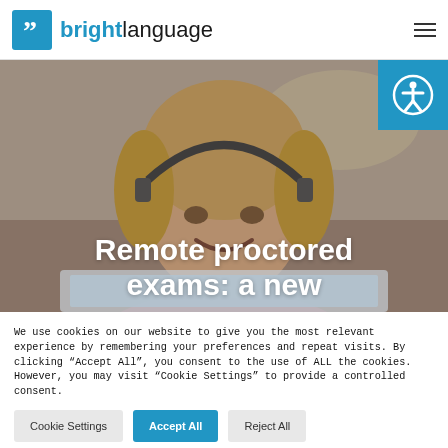[Figure (logo): Bright Language logo with blue comma icon and text 'brightlanguage']
[Figure (photo): Young woman with headset smiling at laptop, hero banner image with overlay text 'Remote proctored exams: a new']
Remote proctored exams: a new
We use cookies on our website to give you the most relevant experience by remembering your preferences and repeat visits. By clicking “Accept All”, you consent to the use of ALL the cookies. However, you may visit “Cookie Settings” to provide a controlled consent.
Cookie Settings
Accept All
Reject All